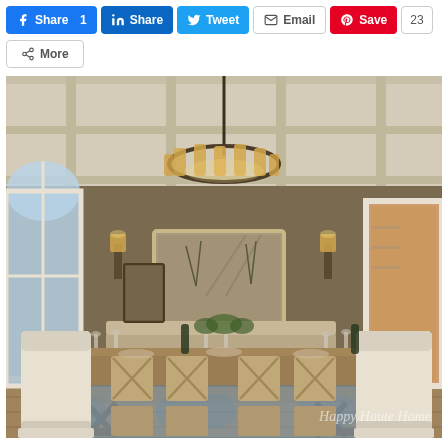[Figure (other): Social media share/action buttons row: Facebook Share 1, LinkedIn Share, Twitter Tweet, Email, Pinterest Save 23, and a More button]
[Figure (photo): Interior photo of an elegant dining room with warm taupe walls, coffered ceiling, large farmhouse-style wooden dining table set for a dinner party, white wingback chairs at the heads of the table, wood cross-back chairs along the sides, a large crystal chandelier overhead, wall sconces, a mirror on the back wall, arched windows on the left, blue vintage area rug, and a watermark reading 'Happy Haute Home']